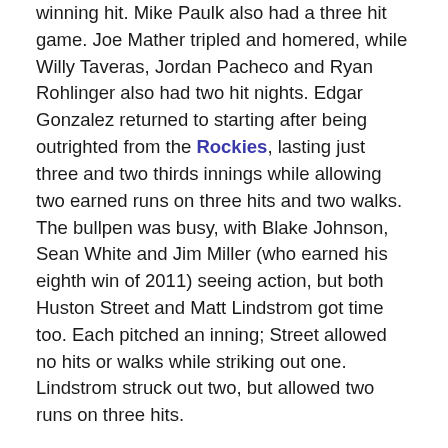winning hit. Mike Paulk also had a three hit game. Joe Mather tripled and homered, while Willy Taveras, Jordan Pacheco and Ryan Rohlinger also had two hit nights. Edgar Gonzalez returned to starting after being outrighted from the Rockies, lasting just three and two thirds innings while allowing two earned runs on three hits and two walks. The bullpen was busy, with Blake Johnson, Sean White and Jim Miller (who earned his eighth win of 2011) seeing action, but both Huston Street and Matt Lindstrom got time too. Each pitched an inning; Street allowed no hits or walks while striking out one. Lindstrom struck out two, but allowed two runs on three hits.